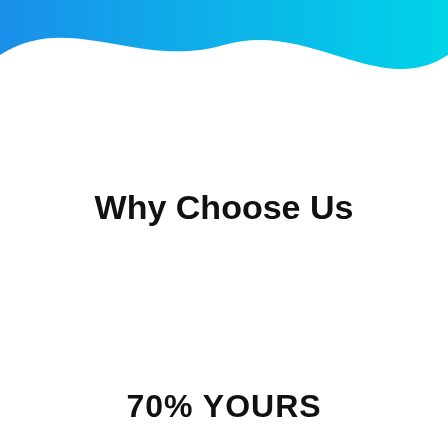[Figure (illustration): Decorative blue gradient wave shape at the top of the page, transitioning from blue on the left to cyan/turquoise on the right]
Why Choose Us
70% YOURS